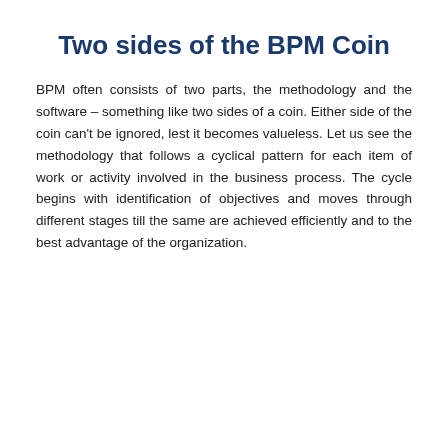Two sides of the BPM Coin
BPM often consists of two parts, the methodology and the software – something like two sides of a coin. Either side of the coin can't be ignored, lest it becomes valueless. Let us see the methodology that follows a cyclical pattern for each item of work or activity involved in the business process. The cycle begins with identification of objectives and moves through different stages till the same are achieved efficiently and to the best advantage of the organization.